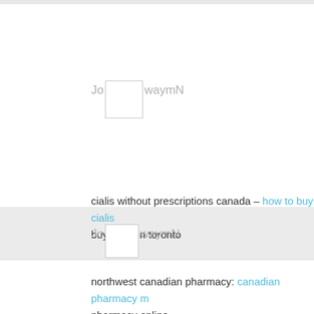Jo waymN
cialis without prescriptions canada – how to buy cialis buy cialis in toronto
Jo waymN
northwest canadian pharmacy: canadian pharmacy m pharmacy online